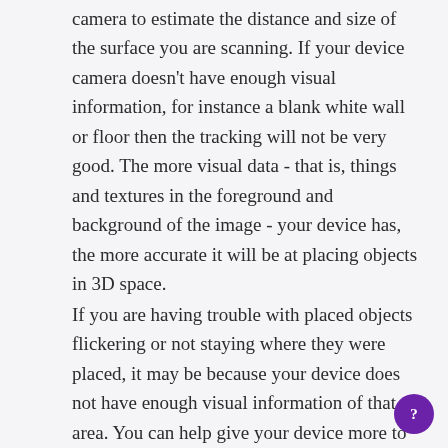camera to estimate the distance and size of the surface you are scanning. If your device camera doesn't have enough visual information, for instance a blank white wall or floor then the tracking will not be very good. The more visual data - that is, things and textures in the foreground and background of the image - your device has, the more accurate it will be at placing objects in 3D space.
If you are having trouble with placed objects flickering or not staying where they were placed, it may be because your device does not have enough visual information of that area. You can help give your device more to work with by putting a physical object like a rug in the foreground or background of the surrounding